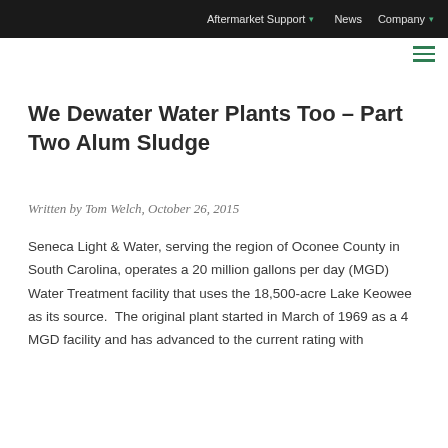Aftermarket Support  ▾    News    Company  ▾
We Dewater Water Plants Too – Part Two Alum Sludge
Written by Tom Welch, October 26, 2015
Seneca Light & Water, serving the region of Oconee County in South Carolina, operates a 20 million gallons per day (MGD) Water Treatment facility that uses the 18,500-acre Lake Keowee as its source.  The original plant started in March of 1969 as a 4 MGD facility and has advanced to the current rating with